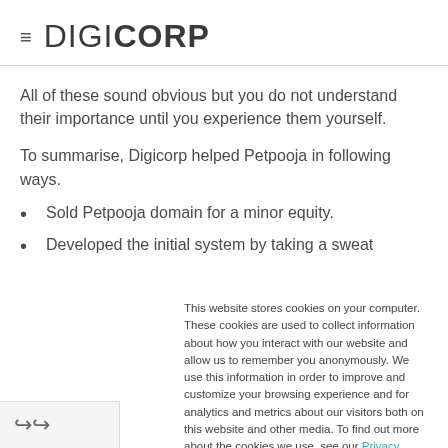≡ DIGICORP
All of these sound obvious but you do not understand their importance until you experience them yourself.
To summarise, Digicorp helped Petpooja in following ways.
Sold Petpooja domain for a minor equity.
Developed the initial system by taking a sweat
This website stores cookies on your computer. These cookies are used to collect information about how you interact with our website and allow us to remember you anonymously. We use this information in order to improve and customize your browsing experience and for analytics and metrics about our visitors both on this website and other media. To find out more about the cookies we use, see our Privacy Policy.
Accept